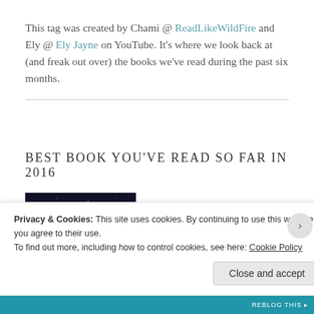This tag was created by Chami @ ReadLikeWildFire and Ely @ Ely Jayne on YouTube. It’s where we look back at (and freak out over) the books we’ve read during the past six months.
BEST BOOK YOU’VE READ SO FAR IN 2016
[Figure (photo): Book cover of Six of Crows by Leigh Bardugo — dark background with the author's name]
Six of Crows by Leigh Bardugo
Privacy & Cookies: This site uses cookies. By continuing to use this website, you agree to their use. To find out more, including how to control cookies, see here: Cookie Policy
Close and accept